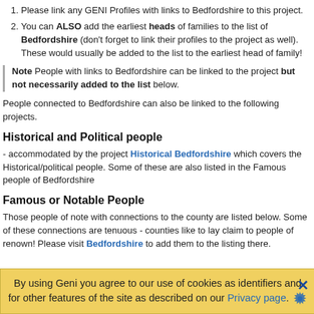Please link any GENI Profiles with links to Bedfordshire to this project.
You can ALSO add the earliest heads of families to the list of Bedfordshire (don't forget to link their profiles to the project as well). These would usually be added to the list to the earliest head of family!
Note People with links to Bedfordshire can be linked to the project but not necessarily added to the list below.
People connected to Bedfordshire can also be linked to the following projects.
Historical and Political people
- accommodated by the project Historical Bedfordshire which covers the Historical/political people. Some of these are also listed in the Famous people of Bedfordshire
Famous or Notable People
Those people of note with connections to the county are listed below. Some of these connections are tenuous - counties like to lay claim to people of renown! Please visit Bedfordshire to add them to the listing there.
By using Geni you agree to our use of cookies as identifiers and for other features of the site as described on our Privacy page.